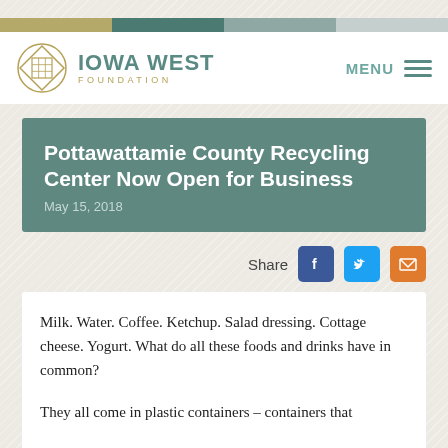[Figure (logo): Iowa West Foundation logo with diamond/grid icon and teal color bar header]
Pottawattamie County Recycling Center Now Open for Business
May 15, 2018
Share
Milk. Water. Coffee. Ketchup. Salad dressing. Cottage cheese. Yogurt. What do all these foods and drinks have in common?
They all come in plastic containers – containers that